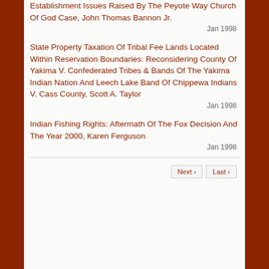Establishment Issues Raised By The Peyote Way Church Of God Case, John Thomas Bannon Jr.
Jan 1998
State Property Taxation Of Tribal Fee Lands Located Within Reservation Boundaries: Reconsidering County Of Yakima V. Confederated Tribes & Bands Of The Yakima Indian Nation And Leech Lake Band Of Chippewa Indians V. Cass County, Scott A. Taylor
Jan 1998
Indian Fishing Rights: Aftermath Of The Fox Decision And The Year 2000, Karen Ferguson
Jan 1998